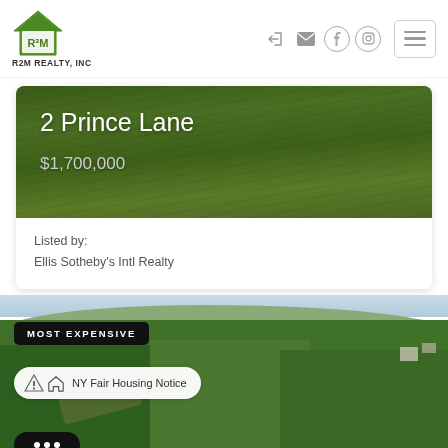R2M REALTY, INC
2 Prince Lane
$1,700,000
Listed by:
Ellis Sotheby's Intl Realty
[Figure (photo): Aerial photo of wooded property with 'MOST EXPENSIVE' badge overlay and NY Fair Housing Notice pill]
MOST EXPENSIVE
NY Fair Housing Notice